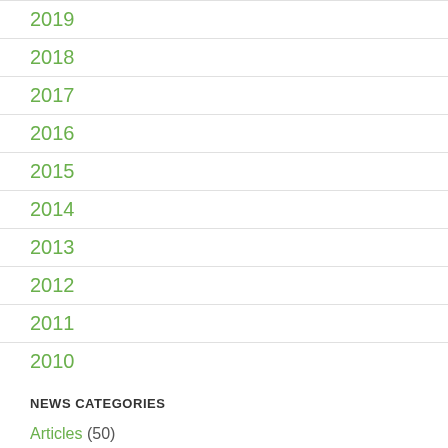2019
2018
2017
2016
2015
2014
2013
2012
2011
2010
NEWS CATEGORIES
Articles (50)
Bio (3)